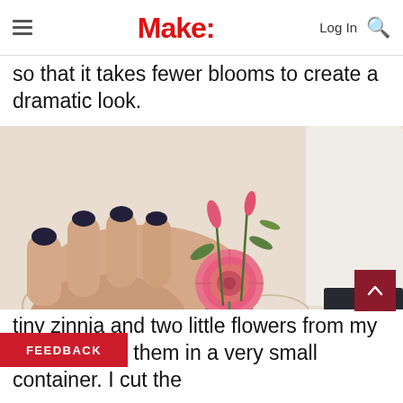Make:
so that it takes fewer blooms to create a dramatic look.
[Figure (photo): Close-up photo of a hand with dark nail polish holding a small blue and white vase containing a pink zinnia and two red/pink flowers with green stems, resting on a white patterned fabric surface.]
tiny zinnia and two little flowers from my yard and put them in a very small container. I cut the